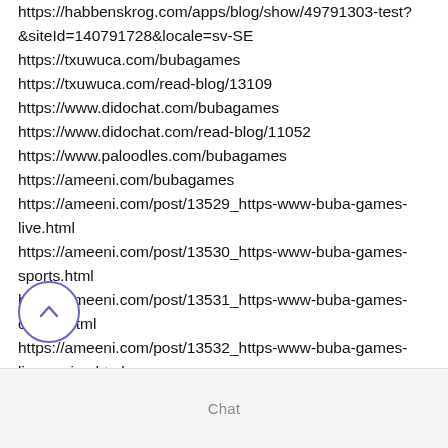https://habbenskrog.com/apps/blog/show/49791303-test?&siteId=140791728&locale=sv-SE
https://txuwuca.com/bubagames
https://txuwuca.com/read-blog/13109
https://www.didochat.com/bubagames
https://www.didochat.com/read-blog/11052
https://www.paloodles.com/bubagames
https://ameeni.com/bubagames
https://ameeni.com/post/13529_https-www-buba-games-live.html
https://ameeni.com/post/13530_https-www-buba-games-sports.html
https://ameeni.com/post/13531_https-www-buba-games-casino.html
https://ameeni.com/post/13532_https-www-buba-games-live-casino.html
https://ameeni.com/post/13533_https-www-buba-games-tv-games.html
Chat